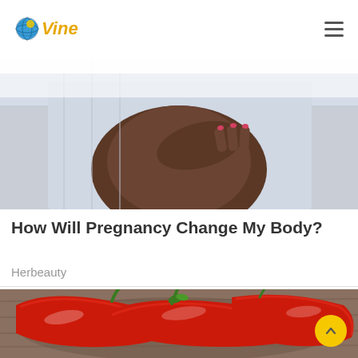Vine
[Figure (photo): A pregnant woman's torso, wearing a striped top and gray cardigan, with her hands resting on her belly.]
How Will Pregnancy Change My Body?
Herbeauty
[Figure (photo): Close-up of several red long chili peppers on a rustic wooden surface.]